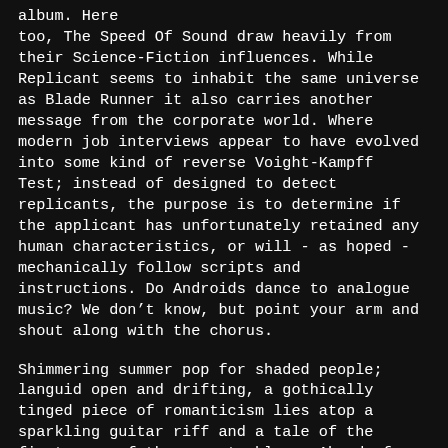album. Here too, The Speed Of Sound draw heavily from their Science-Fiction influences. While Replicant seems to inhabit the same universe as Blade Runner it also carries another message from the corporate world. Where modern job interviews appear to have evolved into some kind of reverse Voight-Kampff Test; instead of designed to detect replicants, the purpose is to determine if the applicant has unfortunately retained any human characteristics, or will - as hoped - mechanically follow scripts and instructions. Do Androids dance to analogue music? We don’t know, but point your arm and shout along with the chorus.
Shimmering summer pop for shaded people; languid open and drifting, a gothically tinged piece of romanticism lies atop a sparkling guitar riff and a tale of the first rose of the year to bloom. Ahead of its time and alone, but merely the trailblazer showing the way and heralding the coming dawn, anticipating further...